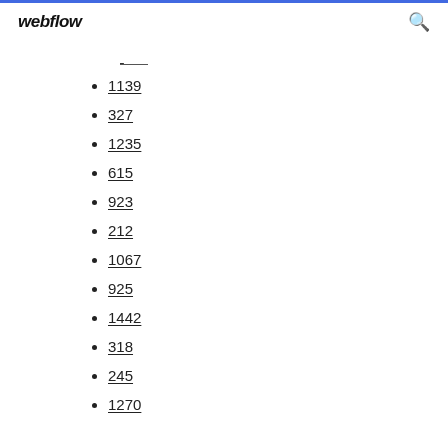webflow
1139
327
1235
615
923
212
1067
925
1442
318
245
1270